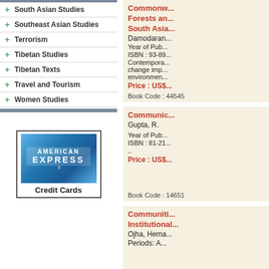+ South Asian Studies
+ Southeast Asian Studies
+ Terrorism
+ Tibetan Studies
+ Tibetan Texts
+ Travel and Tourism
+ Women Studies
[Figure (logo): American Express Credit Cards logo with blue card image]
Commonwealth... Forests and... South Asia... Damodaran... Year of Pub... ISBN : 93-89... Contemporary change imp... environmen... Price : US$...
Book Code : 44545
Communic... Gupta, R. Year of Pub... ISBN : 81-21... .. Price : US$...
Book Code : 14651
Communiti... Institutional... Ojha, Hema... Periods: A...